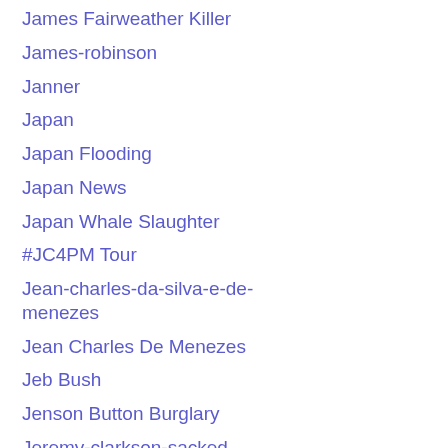James Fairweather Killer
James-robinson
Janner
Japan
Japan Flooding
Japan News
Japan Whale Slaughter
#JC4PM Tour
Jean-charles-da-silva-e-de-menezes
Jean Charles De Menezes
Jeb Bush
Jenson Button Burglary
Jeremy-clarkson-sacked
Jeremy-clarkson-suspended
Jeremy Corbyn
Jeremy Corbyn Christmas Message